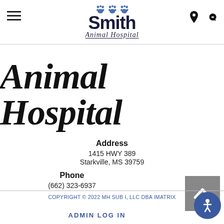[Figure (logo): Smith Animal Hospital logo with paw prints above stylized text]
Animal Hospital
Address
1415 HWY 389
Starkville, MS 39759
Phone
(662) 323-6937
COPYRIGHT © 2022 MH SUB I, LLC DBA IMATRIX
ADMIN LOG IN